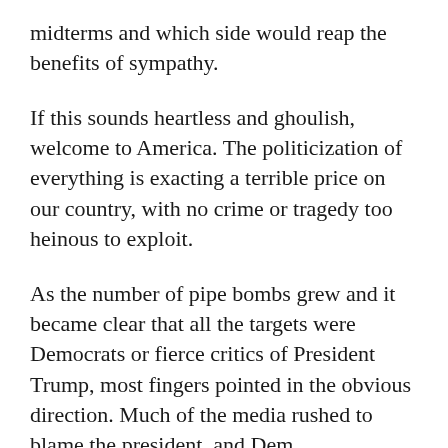midterms and which side would reap the benefits of sympathy.
If this sounds heartless and ghoulish, welcome to America. The politicization of everything is exacting a terrible price on our country, with no crime or tragedy too heinous to exploit.
As the number of pipe bombs grew and it became clear that all the targets were Democrats or fierce critics of President Trump, most fingers pointed in the obvious direction. Much of the media rushed to blame the president, and Dem congressional leaders Chuck Schumer and Nancy